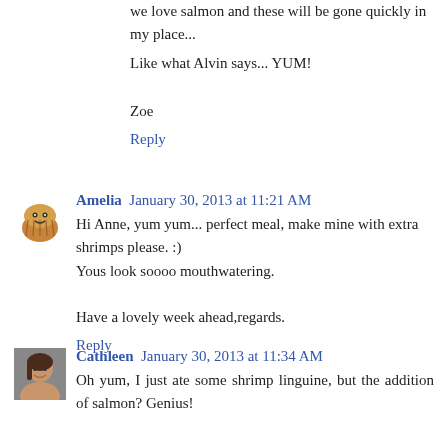we love salmon and these will be gone quickly in my place...
Like what Alvin says... YUM!
Zoe
Reply
Amelia  January 30, 2013 at 11:21 AM
Hi Anne, yum yum... perfect meal, make mine with extra shrimps please. :)
Yous look soooo mouthwatering.

Have a lovely week ahead,regards.
Reply
[Figure (photo): Small avatar photo of Cathleen]
Cathleen  January 30, 2013 at 11:34 AM
Oh yum, I just ate some shrimp linguine, but the addition of salmon? Genius!